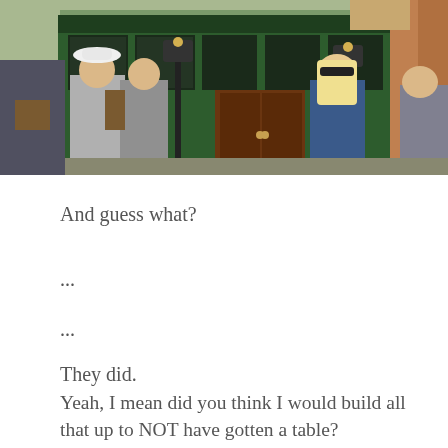[Figure (photo): Outdoor photo of a green-fronted shop building with people walking in front, including a person wearing a white hat and a person with long blonde hair. Brick architecture visible on the right side with street lamps.]
And guess what?
...
...
They did.
Yeah, I mean did you think I would build all that up to NOT have gotten a table?
While the patio was open, it was still a tad chilly